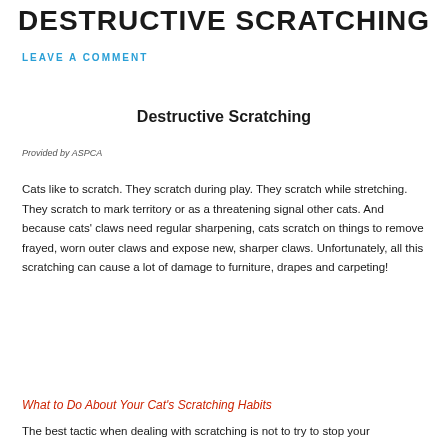DESTRUCTIVE SCRATCHING
LEAVE A COMMENT
Destructive Scratching
Provided by ASPCA
Cats like to scratch. They scratch during play. They scratch while stretching. They scratch to mark territory or as a threatening signal other cats. And because cats' claws need regular sharpening, cats scratch on things to remove frayed, worn outer claws and expose new, sharper claws. Unfortunately, all this scratching can cause a lot of damage to furniture, drapes and carpeting!
What to Do About Your Cat's Scratching Habits
The best tactic when dealing with scratching is not to try to stop your